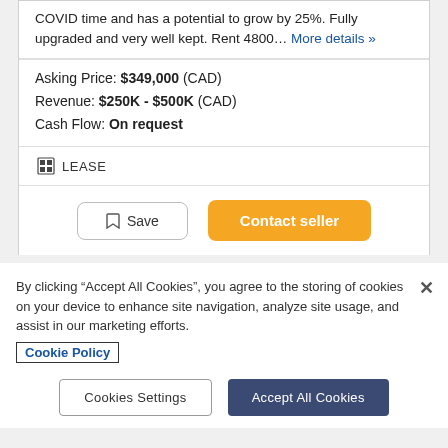COVID time and has a potential to grow by 25%. Fully upgraded and very well kept. Rent 4800… More details »
Asking Price: $349,000 (CAD)
Revenue: $250K - $500K (CAD)
Cash Flow: On request
LEASE
Save | Contact seller
By clicking "Accept All Cookies", you agree to the storing of cookies on your device to enhance site navigation, analyze site usage, and assist in our marketing efforts.
Cookie Policy
Cookies Settings | Accept All Cookies